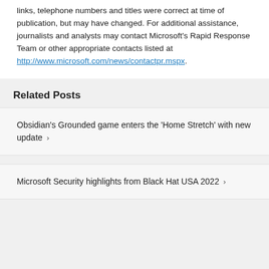links, telephone numbers and titles were correct at time of publication, but may have changed. For additional assistance, journalists and analysts may contact Microsoft's Rapid Response Team or other appropriate contacts listed at http://www.microsoft.com/news/contactpr.mspx.
Related Posts
Obsidian's Grounded game enters the 'Home Stretch' with new update >
Microsoft Security highlights from Black Hat USA 2022 >